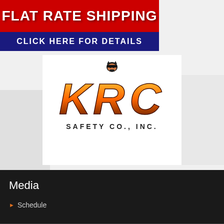[Figure (infographic): Flat Rate Shipping banner: red background with white bold text 'FLAT RATE SHIPPING', below a dark navy blue banner with white text 'CLICK HERE FOR DETAILS']
[Figure (logo): KRC Safety Co., Inc. logo with orange gradient K, R, C letters and a ninja/samurai mascot character on top, with 'SAFETY CO., INC.' text below]
Media
Schedule